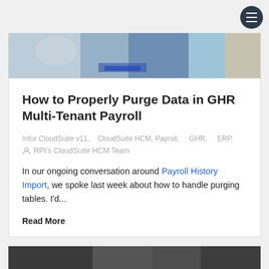[Figure (photo): Hero image showing people working at a table with blue and colorful materials]
How to Properly Purge Data in GHR Multi-Tenant Payroll
Infor CloudSuite v11,   CloudSuite HCM, Payroll,     GHR,     ERP
RPI's CloudSuite HCM Team
In our ongoing conversation around Payroll History Import, we spoke last week about how to handle purging tables. I'd...
Read More
[Figure (photo): Bottom cropped photo, partially visible]